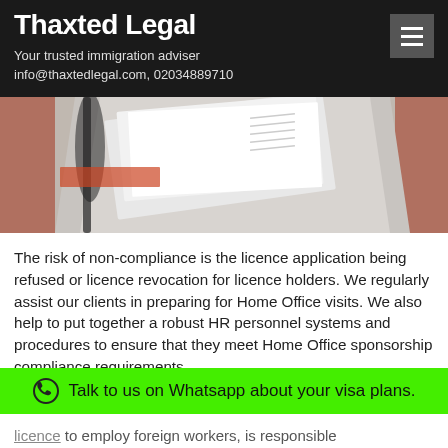Thaxted Legal
Your trusted immigration adviser
info@thaxtedlegal.com, 02034889710
[Figure (photo): Close-up photo of documents/papers being reviewed on a desk, showing hands with pen on papers]
The risk of non-compliance is the licence application being refused or licence revocation for licence holders. We regularly assist our clients in preparing for Home Office visits. We also help to put together a robust HR personnel systems and procedures to ensure that they meet Home Office sponsorship compliance requirements.
Talk to us on Whatsapp about your visa plans.
licence to employ foreign workers, is responsible